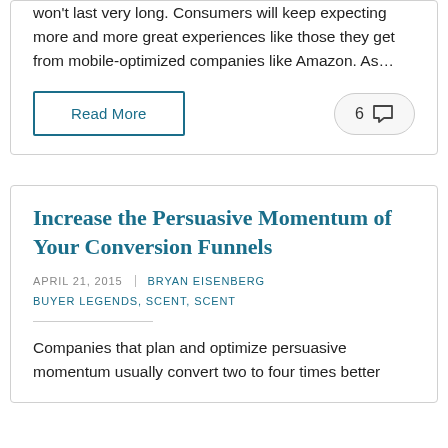won't last very long. Consumers will keep expecting more and more great experiences like those they get from mobile-optimized companies like Amazon. As…
Read More
6 💬
Increase the Persuasive Momentum of Your Conversion Funnels
APRIL 21, 2015 | BRYAN EISENBERG
BUYER LEGENDS, SCENT, SCENT
Companies that plan and optimize persuasive momentum usually convert two to four times better